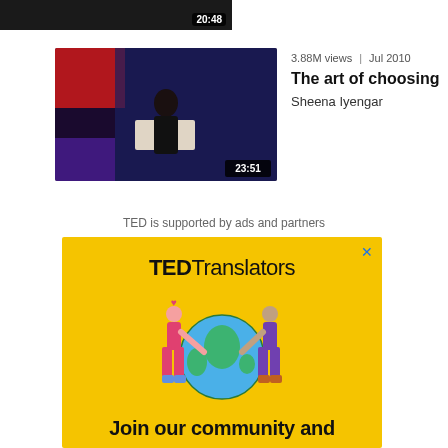[Figure (screenshot): Partial video thumbnail at top showing dark stage scene with duration badge '20:48']
[Figure (screenshot): TED talk video thumbnail of Sheena Iyengar on stage with duration badge '23:51']
3.88M views | Jul 2010
The art of choosing
Sheena Iyengar
TED is supported by ads and partners
[Figure (illustration): TED Translators advertisement on yellow background showing two illustrated figures hugging a globe, with text 'TEDTranslators' and 'Join our community and']